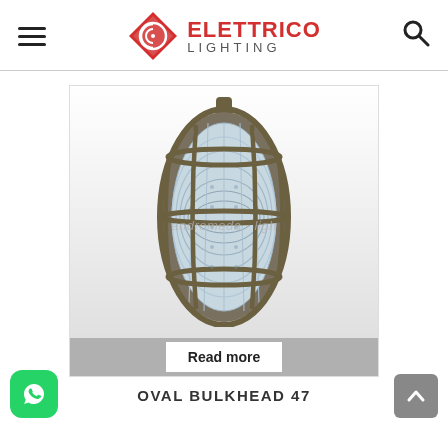Elettrico Lighting — navigation header with hamburger menu and search icon
[Figure (photo): Oval bulkhead industrial light fixture with brass/bronze cage and ribbed glass lens, watermark text 'andromeda - ligh', with a 'Read more' button overlay on a gray bar at the bottom of the image]
OVAL BULKHEAD 47